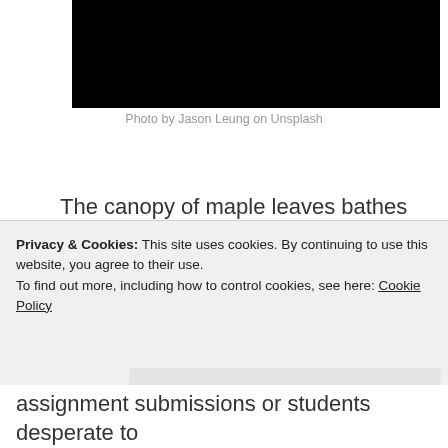[Figure (photo): Black rectangle representing a photo (top of image visible), photo by Jason Leung on Unsplash]
Photo by Jason Leung on Unsplash
The canopy of maple leaves bathes in sunlight on the Summer Solstice. Still for a moment, the legion of leaves ripple lie a stadium crowd doing the wave.
Despite the abundance of daylight left on this longest of days, afternoon shadows creep across the front
Privacy & Cookies: This site uses cookies. By continuing to use this website, you agree to their use.
To find out more, including how to control cookies, see here: Cookie Policy
Close and accept
assignment submissions or students desperate to